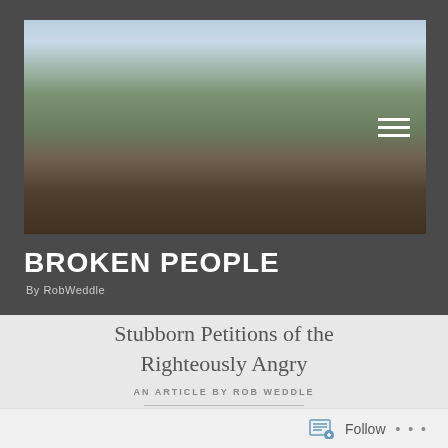[Figure (photo): Outdoor landscape photo showing an older bearded man standing with arms crossed against a backdrop of a European town with a church steeple, hills with trees, and a partly cloudy sky.]
BROKEN PEOPLE
By RobWeddle
Stubborn Petitions of the Righteously Angry
AN ARTICLE BY ROB WEDDLE
Follow ...